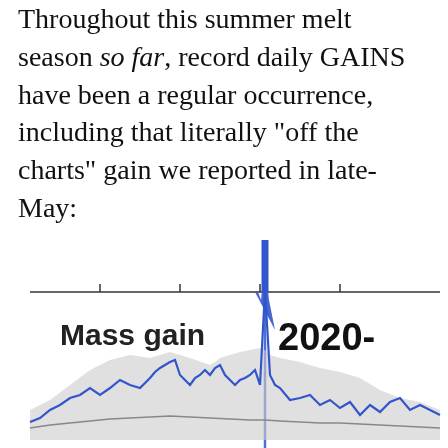Throughout this summer melt season so far, record daily GAINS have been a regular occurrence, including that literally "off the charts" gain we reported in late-May:
[Figure (continuous-plot): Time series chart showing daily mass gain with a large blue spike labeled '2020-' around late May, blue line for current year, grey shaded area for historical range, and darker grey line for historical mean. X-axis shows tick marks. Y-axis label reads 'Mass gain'.]